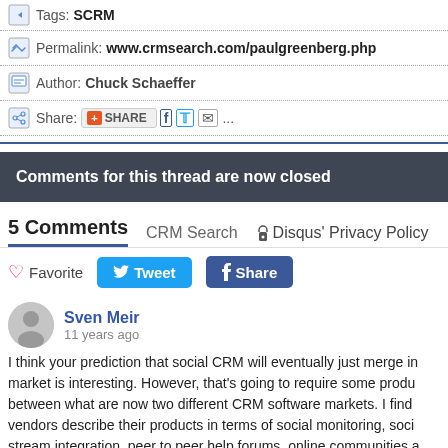Tags: SCRM
Permalink: www.crmsearch.com/paulgreenberg.php
Author: Chuck Schaeffer
Share: [SHARE] [f] [tw] [email] ...
Comments for this thread are now closed
5 Comments   CRM Search   Disqus' Privacy Policy
Favorite   Tweet   Share
Sven Meir
11 years ago
I think your prediction that social CRM will eventually just merge in market is interesting. However, that's going to require some produ between what are now two different CRM software markets. I find vendors describe their products in terms of social monitoring, soci stream integration, peer to peer help forums, online communities a CRM vendors describe their products in terms of marketing, sales customer service. I think your prediction will come true, and when